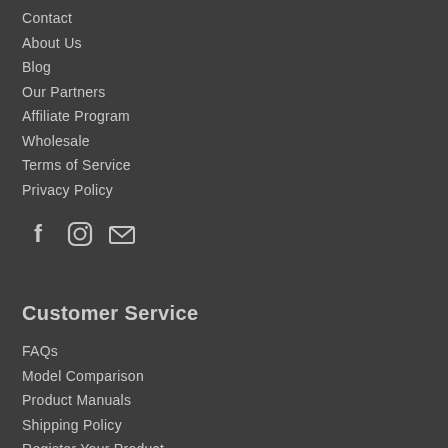Contact
About Us
Blog
Our Partners
Affiliate Program
Wholesale
Terms of Service
Privacy Policy
[Figure (illustration): Social media icons: Facebook, Instagram, Email]
Customer Service
FAQs
Model Comparison
Product Manuals
Shipping Policy
Register Your Product
Warranty
Service & Repair